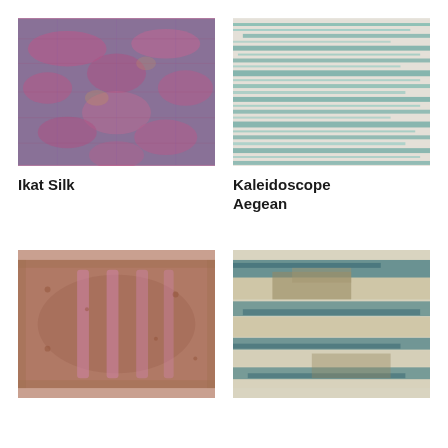[Figure (photo): Ikat Silk rug with ornamental pink, magenta, and blue pattern]
Ikat Silk
[Figure (photo): Kaleidoscope Aegean rug with horizontal teal and beige watercolor stripes]
Kaleidoscope Aegean
[Figure (photo): Persian ornamental rug with pink, rose, and brown intricate floral pattern]
[Figure (photo): Distressed rug with teal, beige, and brown horizontal abstract streaks]